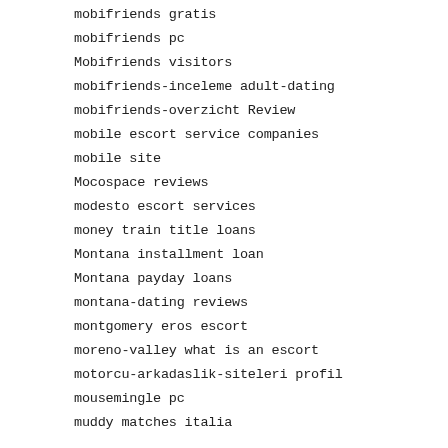mobifriends gratis
mobifriends pc
Mobifriends visitors
mobifriends-inceleme adult-dating
mobifriends-overzicht Review
mobile escort service companies
mobile site
Mocospace reviews
modesto escort services
money train title loans
Montana installment loan
Montana payday loans
montana-dating reviews
montgomery eros escort
moreno-valley what is an escort
motorcu-arkadaslik-siteleri profil
mousemingle pc
muddy matches italia